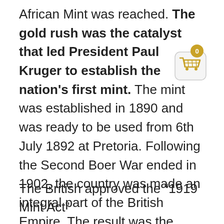African Mint was reached. The gold rush was the catalyst that led President Paul Kruger to establish the nation's first mint. The mint was established in 1890 and was ready to be used from 6th July 1892 at Pretoria. Following the Second Boer War ended in 1902, the country was made an integral part of the British Empire. The result was the closing of the mint following the pound sterling became legal to be used in the new colony.
[Figure (illustration): Shopping cart icon with a gold badge showing the number 0, overlaid on the top-right area of the text.]
The British approved the “1919 Mint Act”